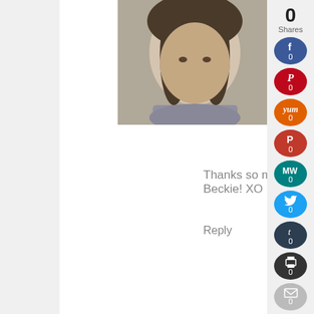[Figure (photo): Profile photo of a woman with long dark hair]
December 5, 2012 at 9:29 PM
Thanks so much Beckie! XO
Reply
[Figure (illustration): Gray placeholder avatar silhouette]
THE SINGLE NESTER SAYS
December 6, 2012 at 4:50 PM
[Figure (infographic): Social share sidebar with 0 shares: Facebook, Pinterest, Yummly, Parler, MeWe, Twitter, Tumblr, Print, Email buttons all showing 0]